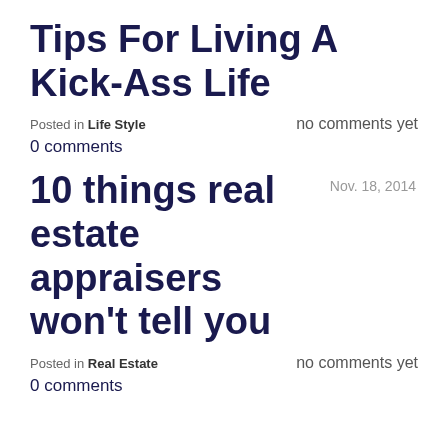Tips For Living A Kick-Ass Life
Posted in Life Style    no comments yet
0 comments
10 things real estate appraisers won't tell you
Nov. 18, 2014
Posted in Real Estate    no comments yet
0 comments